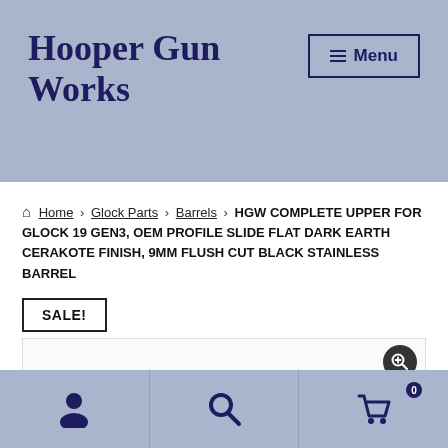Hooper Gun Works
≡ Menu
Home › Glock Parts › Barrels › HGW COMPLETE UPPER FOR GLOCK 19 GEN3, OEM PROFILE SLIDE FLAT DARK EARTH CERAKOTE FINISH, 9MM FLUSH CUT BLACK STAINLESS BARREL
SALE!
[Figure (photo): Product image area with zoom button]
[Figure (infographic): Bottom navigation bar with account, search, and cart icons]